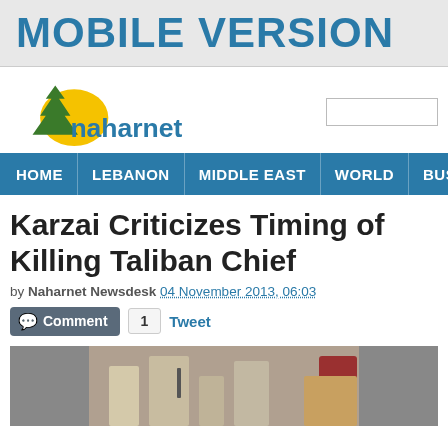MOBILE VERSION
[Figure (logo): Naharnet logo with cedar tree and sun graphic, and search box on the right]
HOME | LEBANON | MIDDLE EAST | WORLD | BUSINESS | SP
Karzai Criticizes Timing of Killing Taliban Chief
by Naharnet Newsdesk 04 November 2013, 06:03
Comment  1  Tweet
[Figure (photo): Partial photo showing people, appears to be Taliban-related news image]